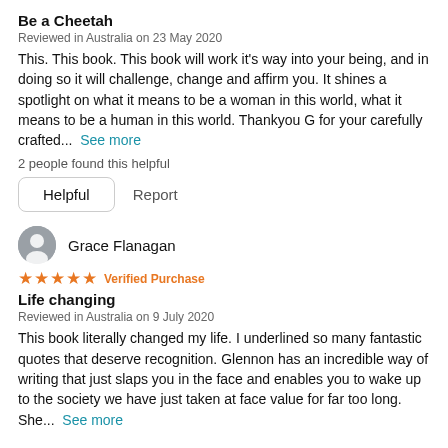Be a Cheetah
Reviewed in Australia on 23 May 2020
This. This book. This book will work it's way into your being, and in doing so it will challenge, change and affirm you. It shines a spotlight on what it means to be a woman in this world, what it means to be a human in this world. Thankyou G for your carefully crafted... See more
2 people found this helpful
Helpful   Report
Grace Flanagan
★★★★★ Verified Purchase
Life changing
Reviewed in Australia on 9 July 2020
This book literally changed my life. I underlined so many fantastic quotes that deserve recognition. Glennon has an incredible way of writing that just slaps you in the face and enables you to wake up to the society we have just taken at face value for far too long. She... See more